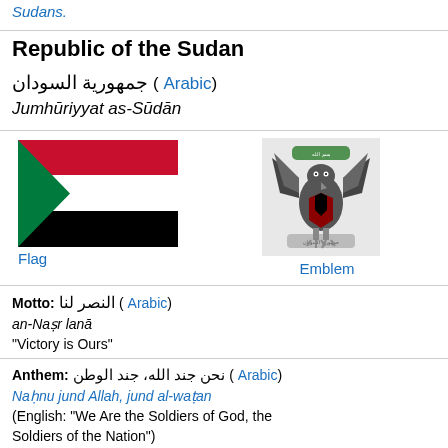Sudans.
Republic of the Sudan
جمهورية السودان ( Arabic) Jumhūriyyat as-Sūdān
[Figure (illustration): Flag of Sudan – three horizontal stripes red, white, black with green triangle on left]
Flag
[Figure (illustration): Emblem of Sudan – eagle with shield and scroll]
Emblem
Motto: النصر لنا ( Arabic) an-Naṣr lanā "Victory is Ours"
Anthem: نحن جند الله، جند الوطن ( Arabic) Naḥnu jund Allah, jund al-waṭan (English: "We Are the Soldiers of God, the Soldiers of the Nation")